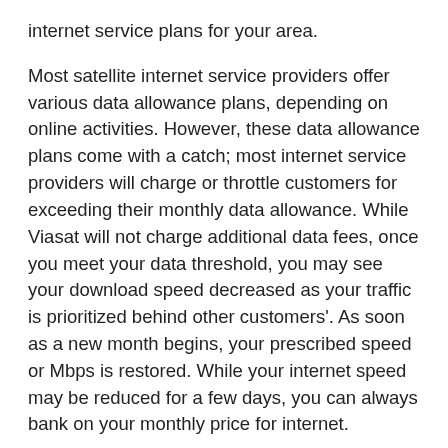internet service plans for your area.
Most satellite internet service providers offer various data allowance plans, depending on online activities. However, these data allowance plans come with a catch; most internet service providers will charge or throttle customers for exceeding their monthly data allowance. While Viasat will not charge additional data fees, once you meet your data threshold, you may see your download speed decreased as your traffic is prioritized behind other customers'. As soon as a new month begins, your prescribed speed or Mbps is restored. While your internet speed may be reduced for a few days, you can always bank on your monthly price for internet.
At Viasat satellite internet, we believe that reliable, high-speed internet service shouldn't cost a fortune. We don't charge our customers any additional data allowance fees, overage fees or even fees for changing internet plans,